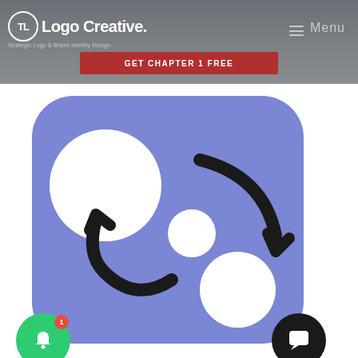[Figure (screenshot): Website header bar for Logo Creative showing logo, tagline 'Strategic Logo & Brand Identity Design', Menu button, and a red CTA banner 'GET CHAPTER 1 FREE']
[Figure (illustration): App icon with blue-purple rounded square background showing three white circles of different sizes connected by two curved black arrows indicating a refresh or exchange action; overlaid with a green notification bell badge (count 1) and a black chat button]